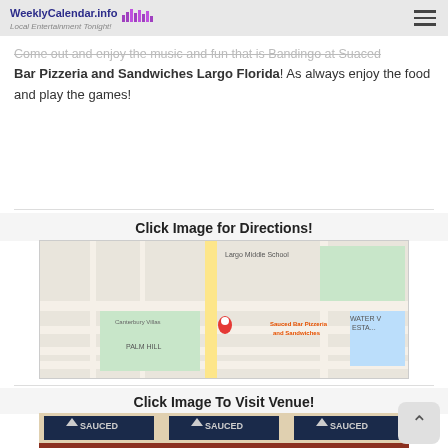WeeklyCalendar.info Local Entertainment Tonight!
Come out and enjoy the music and fun that is Bandingo at Suaced Bar Pizzeria and Sandwiches Largo Florida! As always enjoy the food and play the games!
Click Image for Directions!
[Figure (map): Google Maps screenshot showing location of Sauced Bar Pizzeria and Sandwiches in Largo, Florida, near Palm Hill and Canterbury Villas areas, with a red map pin marker on the location.]
Click Image To Visit Venue!
[Figure (photo): Photo of the exterior of Sauced Bar Pizzeria and Sandwiches showing three SAUCED signs on the building facade.]